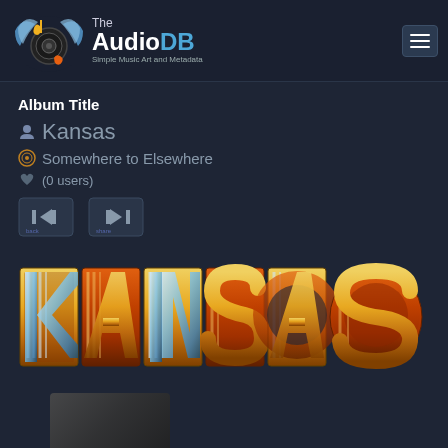The AudioDB – Simple Music Art and Metadata
Album Title
Kansas
Somewhere to Elsewhere
(0 users)
[Figure (logo): Kansas band stylized logo with metallic 3D letters in gold, blue, and orange]
[Figure (photo): Partial album art visible at bottom of page, dark grey tones]